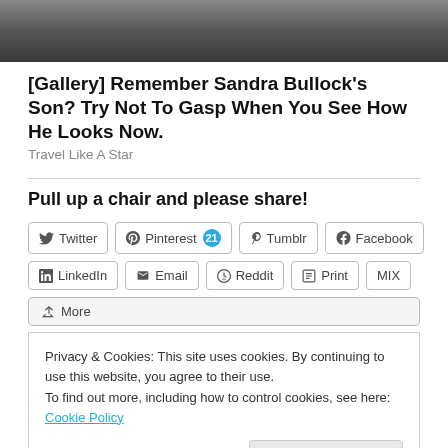[Figure (photo): Partial photo of a person, cropped at the bottom of the image strip at the top of the page]
[Gallery] Remember Sandra Bullock's Son? Try Not To Gasp When You See How He Looks Now.
Travel Like A Star
Pull up a chair and please share!
Twitter | Pinterest 21 | Tumblr | Facebook | LinkedIn | Email | Reddit | Print | MIX | More
Privacy & Cookies: This site uses cookies. By continuing to use this website, you agree to their use.
To find out more, including how to control cookies, see here: Cookie Policy
Close and accept